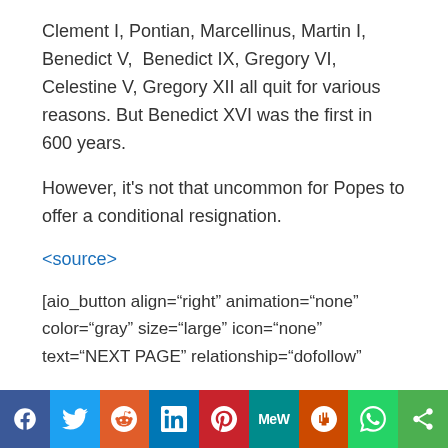Clement I, Pontian, Marcellinus, Martin I, Benedict V, Benedict IX, Gregory VI, Celestine V, Gregory XII all quit for various reasons. But Benedict XVI was the first in 600 years.
However, it’s not that uncommon for Popes to offer a conditional resignation.
<source>
[aio_button align="right" animation="none" color="gray" size="large" icon="none" text="NEXT PAGE" relationship="dofollow"
[Figure (infographic): Social media share bar at the bottom: Facebook (blue), Twitter (light blue), Reddit (orange), LinkedIn (dark blue), Pinterest (red), MeWe (teal), Mix (orange-red), WhatsApp (green), Share (green)]